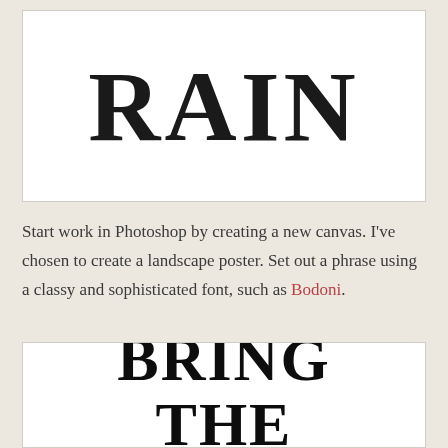[Figure (illustration): White rectangular box containing the large bold serif text 'RAIN' in black]
Start work in Photoshop by creating a new canvas. I've chosen to create a landscape poster. Set out a phrase using a classy and sophisticated font, such as Bodoni.
[Figure (illustration): White rectangular box containing large bold serif text 'BRING THE' partially visible, cropped at bottom]